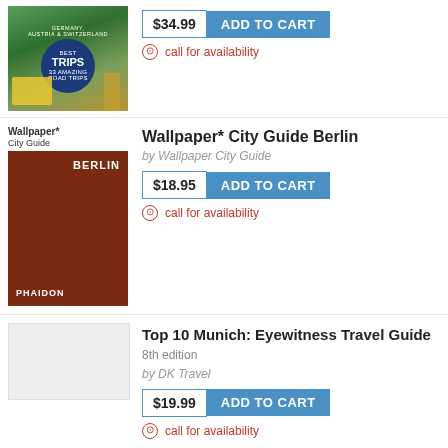[Figure (photo): Book cover: Germany, Austria & Switzerland Best Trips, showing scenic landscape, golden statue, and yellow vintage car]
$34.99  ADD TO CART
call for availability
[Figure (photo): Book cover: Wallpaper* City Guide Berlin by Phaidon, dark brown/maroon cover with BERLIN text in white]
Wallpaper* City Guide Berlin
by Wallpaper City Guide
$18.95  ADD TO CART
call for availability
Top 10 Munich: Eyewitness Travel Guide 8th edition
by DK Travel
$19.99  ADD TO CART
call for availability